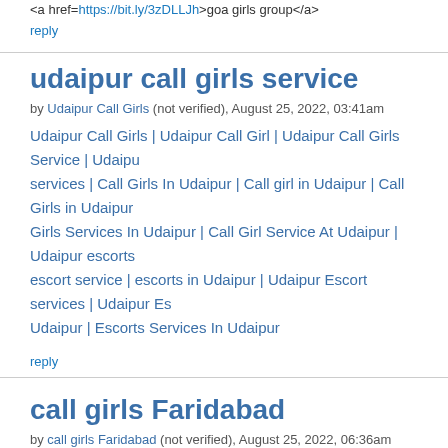<a href=https://bit.ly/3zDLLJh>goa girls group</a>
reply
udaipur call girls service
by Udaipur Call Girls (not verified), August 25, 2022, 03:41am
Udaipur Call Girls | Udaipur Call Girl | Udaipur Call Girls Service | Udaipur services | Call Girls In Udaipur | Call girl in Udaipur | Call Girls in Udaipur | Girls Services In Udaipur | Call Girl Service At Udaipur | Udaipur escorts escort service | escorts in Udaipur | Udaipur Escort services | Udaipur Es Udaipur | Escorts Services In Udaipur
reply
call girls Faridabad
by call girls Faridabad (not verified), August 25, 2022, 06:36am
Book 24x7 Call Girls & Escort Service in Night
Hello everyone, We welcome you then as you have been looking for coit Faridabad. Welcome to our cheap call girls in Faridabad escort agency w pleasant help offers and as a rule people genuinely working all the more